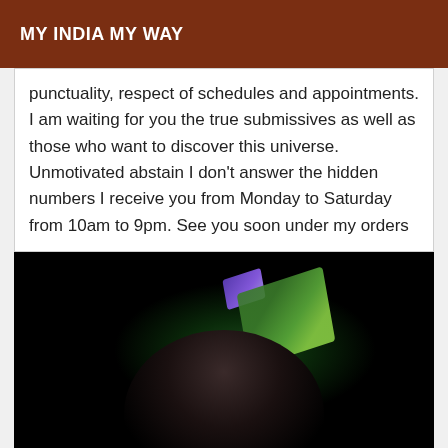MY INDIA MY WAY
punctuality, respect of schedules and appointments. I am waiting for you the true submissives as well as those who want to discover this universe. Unmotivated abstain I don't answer the hidden numbers I receive you from Monday to Saturday from 10am to 9pm. See you soon under my orders
[Figure (photo): A dark photograph showing a person's face partially visible in very low light, with what appears to be a green illuminated screen or monitor visible in the background upper area. The image is very dark with deep shadows.]